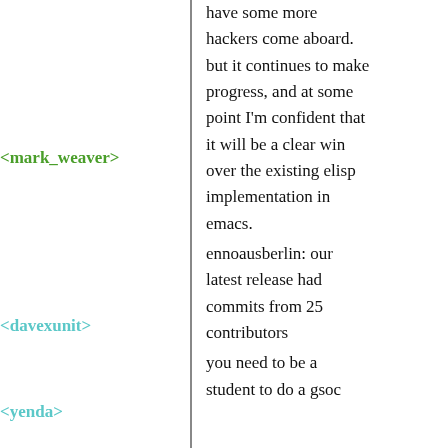have some more hackers come aboard.
<mark_weaver> but it continues to make progress, and at some point I'm confident that it will be a clear win over the existing elisp implementation in emacs.
<davexunit> ennoausberlin: our latest release had commits from 25 contributors
<yenda> you need to be a student to do a gsoc